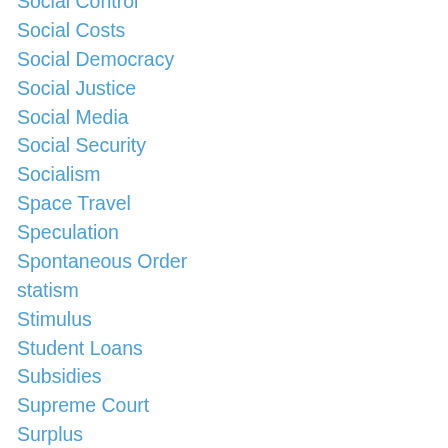Social Control
Social Costs
Social Democracy
Social Justice
Social Media
Social Security
Socialism
Space Travel
Speculation
Spontaneous Order
statism
Stimulus
Student Loans
Subsidies
Supreme Court
Surplus
Tariffs
Tax Incidence
Taxes
Teachers Unions